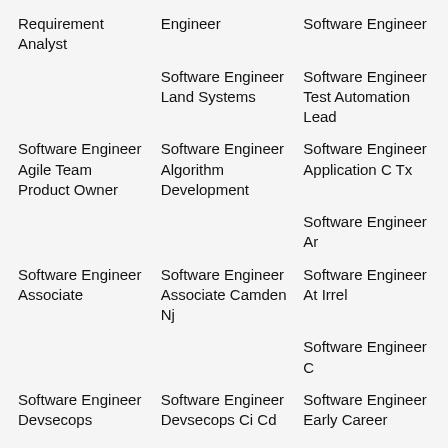Requirement Analyst
Engineer
Software Engineer
Software Engineer Land Systems
Software Engineer Test Automation Lead
Software Engineer Agile Team Product Owner
Software Engineer Algorithm Development
Software Engineer Application C Tx
Software Engineer Ar
Software Engineer Associate
Software Engineer Associate Camden Nj
Software Engineer At Irrel
Software Engineer C
Software Engineer Devsecops
Software Engineer Devsecops Ci Cd
Software Engineer Early Career